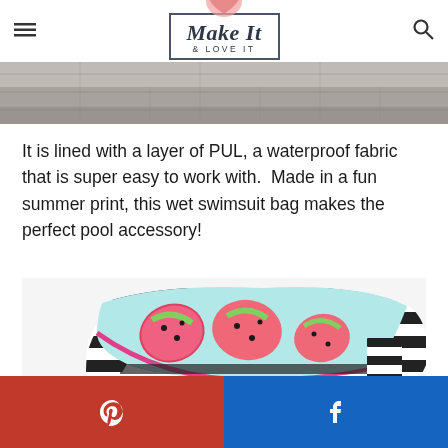Make It & LOVE IT
[Figure (photo): Top portion of a photo showing concrete or stone pavement/floor surface in gray tones]
It is lined with a layer of PUL, a waterproof fabric that is super easy to work with.  Made in a fun summer print, this wet swimsuit bag makes the perfect pool accessory!
[Figure (photo): A wet swimsuit bag with a watermelon print fabric on top (pink and green watermelon slices pattern on light blue background) and black and white striped lining/exterior, partially open, lying on a white surface with a small striped object to the right]
Pinterest share button | Facebook share button